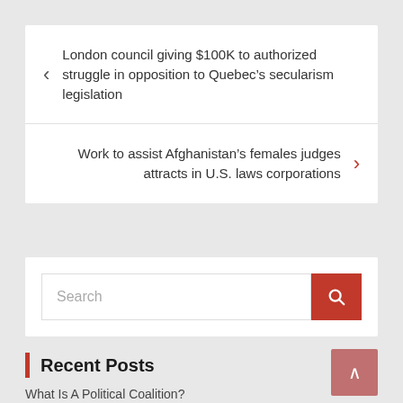London council giving $100K to authorized struggle in opposition to Quebec’s secularism legislation
Work to assist Afghanistan’s females judges attracts in U.S. laws corporations
Search
Recent Posts
What Is A Political Coalition?